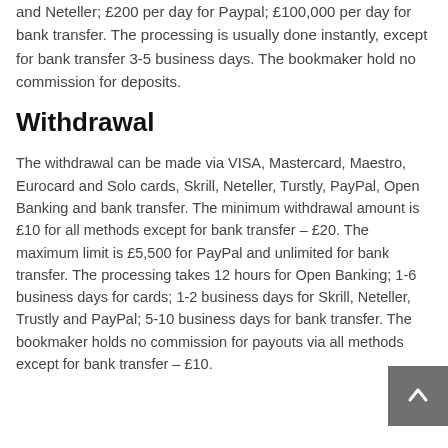and Neteller; £200 per day for Paypal; £100,000 per day for bank transfer. The processing is usually done instantly, except for bank transfer 3-5 business days. The bookmaker hold no commission for deposits.
Withdrawal
The withdrawal can be made via VISA, Mastercard, Maestro, Eurocard and Solo cards, Skrill, Neteller, Turstly, PayPal, Open Banking and bank transfer. The minimum withdrawal amount is £10 for all methods except for bank transfer – £20. The maximum limit is £5,500 for PayPal and unlimited for bank transfer. The processing takes 12 hours for Open Banking; 1-6 business days for cards; 1-2 business days for Skrill, Neteller, Trustly and PayPal; 5-10 business days for bank transfer. The bookmaker holds no commission for payouts via all methods except for bank transfer – £10.